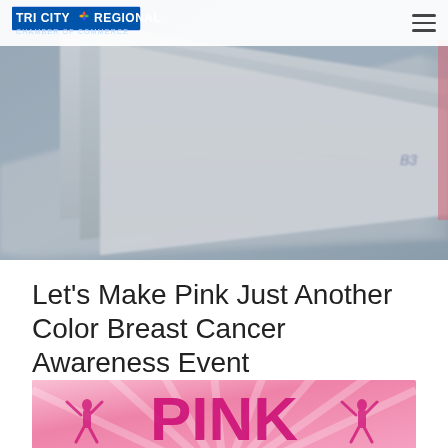[Figure (photo): Stack of newspapers seen from the side/top at an angle, blurred background, blue-gray tones. Navigation bar with Tri City Regional Chamber of Commerce logo overlaid at top-left, and hamburger menu icon at top-right.]
Let's Make Pink Just Another Color Breast Cancer Awareness Event
9/21/2018
0 Comments
[Figure (photo): Pink promotional banner/graphic with large bold pink letters spelling PINK, with silhouettes of cheerleaders and sunburst rays on a pink gradient background.]